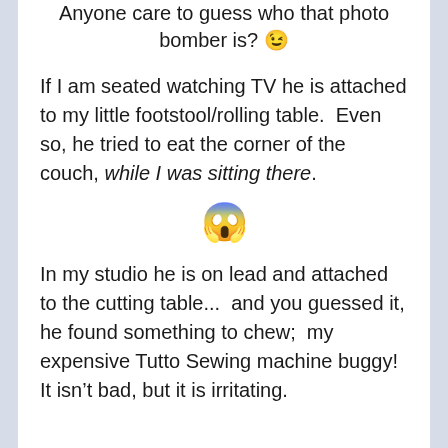Anyone care to guess who that photo bomber is? 😉
If I am seated watching TV he is attached to my little footstool/rolling table.  Even so, he tried to eat the corner of the couch, while I was sitting there.
[Figure (illustration): Shocked/surprised face emoji with chef hat]
In my studio he is on lead and attached to the cutting table...  and you guessed it, he found something to chew;  my expensive Tutto Sewing machine buggy!  It isn't bad, but it is irritating.